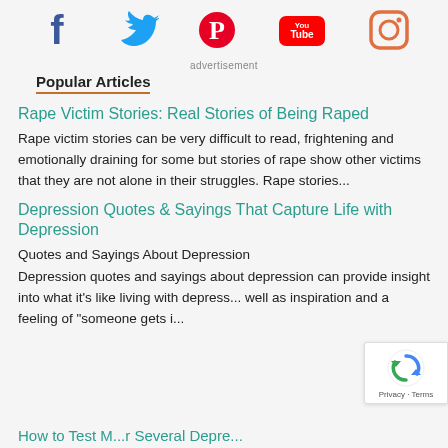[Figure (other): Social media icons row: Facebook (blue), Twitter (blue bird), Pinterest (red), YouTube (red/white), Instagram (orange outline)]
advertisement
Popular Articles
Rape Victim Stories: Real Stories of Being Raped
Rape victim stories can be very difficult to read, frightening and emotionally draining for some but stories of rape show other victims that they are not alone in their struggles. Rape stories...
Depression Quotes & Sayings That Capture Life with Depression
Quotes and Sayings About Depression
Depression quotes and sayings about depression can provide insight into what it's like living with depress... well as inspiration and a feeling of "someone gets i...
[Figure (other): reCAPTCHA badge with spinning arrows icon, Privacy and Terms links]
(partial article title cut off at bottom)